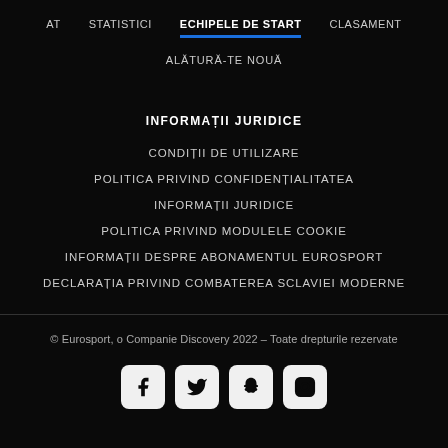AT  STATISTICI  ECHIPELE DE START  CLASAMENT
ALĂTURĂ-TE NOUĂ
INFORMAȚII JURIDICE
CONDIȚII DE UTILIZARE
POLITICA PRIVIND CONFIDENȚIALITATEA
INFORMAȚII JURIDICE
POLITICA PRIVIND MODULELE COOKIE
INFORMAȚII DESPRE ABONAMENTUL EUROSPORT
DECLARAȚIA PRIVIND COMBATEREA SCLAVIEI MODERNE
© Eurosport, o Companie Discovery 2022 – Toate drepturile rezervate